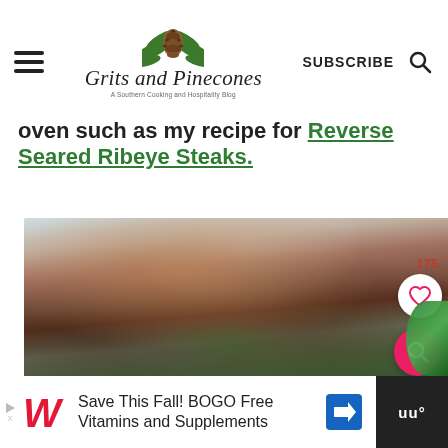Grits and Pinecones — A Southern Cooking and Hospitality Blog | SUBSCRIBE
oven such as my recipe for Reverse Seared Ribeye Steaks.
[Figure (photo): Close-up photo of a reverse seared ribeye steak topped with herbs and garnish on a white plate, with a like count of 175 and social buttons overlaid]
Save This Fall! BOGO Free Vitamins and Supplements